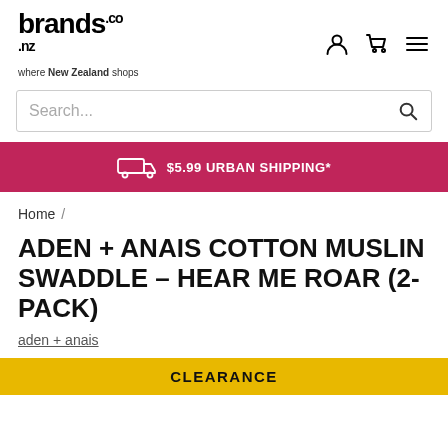brands.co.nz — where New Zealand shops
Search...
$5.99 URBAN SHIPPING*
Home /
ADEN + ANAIS COTTON MUSLIN SWADDLE – HEAR ME ROAR (2-PACK)
aden + anais
CLEARANCE